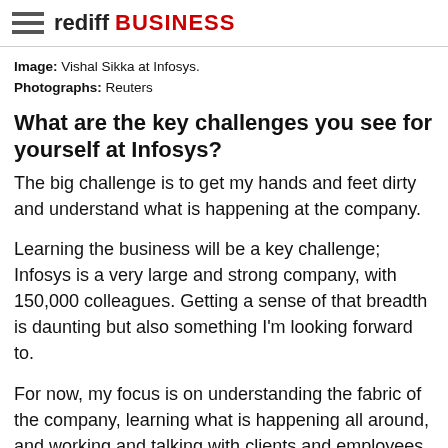rediff BUSINESS
Image: Vishal Sikka at Infosys.
Photographs: Reuters
What are the key challenges you see for yourself at Infosys?
The big challenge is to get my hands and feet dirty and understand what is happening at the company.
Learning the business will be a key challenge; Infosys is a very large and strong company, with 150,000 colleagues. Getting a sense of that breadth is daunting but also something I'm looking forward to.
For now, my focus is on understanding the fabric of the company, learning what is happening all around, and working and talking with clients and employees.
...
Why Vishal Sikka decided to join Infosys